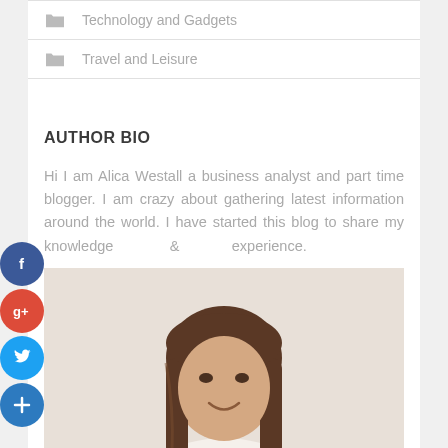Technology and Gadgets
Travel and Leisure
AUTHOR BIO
Hi I am Alica Westall a business analyst and part time blogger. I am crazy about gathering latest information around the world. I have started this blog to share my knowledge & experience.
[Figure (photo): Portrait photo of a young woman with long brown hair, smiling, against a light background]